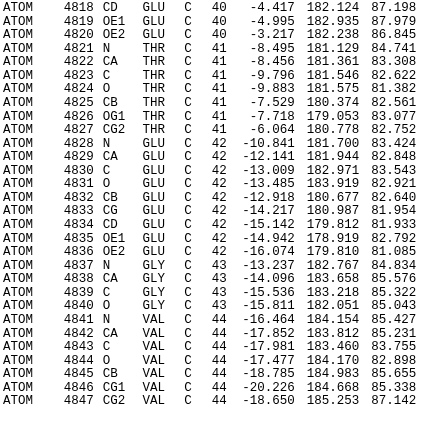| type | serial | name | res | chain | resSeq | x | y | z | ... |
| --- | --- | --- | --- | --- | --- | --- | --- | --- | --- |
| ATOM | 4818 | CD | GLU | C | 40 | -4.417 | 182.124 | 87.198 |  |
| ATOM | 4819 | OE1 | GLU | C | 40 | -4.995 | 182.935 | 87.979 |  |
| ATOM | 4820 | OE2 | GLU | C | 40 | -3.217 | 182.238 | 86.845 |  |
| ATOM | 4821 | N | THR | C | 41 | -8.495 | 181.129 | 84.741 |  |
| ATOM | 4822 | CA | THR | C | 41 | -8.456 | 181.361 | 83.308 |  |
| ATOM | 4823 | C | THR | C | 41 | -9.796 | 181.546 | 82.622 |  |
| ATOM | 4824 | O | THR | C | 41 | -9.883 | 181.575 | 81.382 |  |
| ATOM | 4825 | CB | THR | C | 41 | -7.529 | 180.374 | 82.561 |  |
| ATOM | 4826 | OG1 | THR | C | 41 | -7.718 | 179.053 | 83.077 |  |
| ATOM | 4827 | CG2 | THR | C | 41 | -6.064 | 180.778 | 82.752 |  |
| ATOM | 4828 | N | GLU | C | 42 | -10.841 | 181.700 | 83.424 |  |
| ATOM | 4829 | CA | GLU | C | 42 | -12.141 | 181.944 | 82.848 |  |
| ATOM | 4830 | C | GLU | C | 42 | -13.009 | 182.971 | 83.543 |  |
| ATOM | 4831 | O | GLU | C | 42 | -13.485 | 183.919 | 82.921 |  |
| ATOM | 4832 | CB | GLU | C | 42 | -12.918 | 180.677 | 82.640 |  |
| ATOM | 4833 | CG | GLU | C | 42 | -14.217 | 180.987 | 81.954 |  |
| ATOM | 4834 | CD | GLU | C | 42 | -15.142 | 179.812 | 81.933 |  |
| ATOM | 4835 | OE1 | GLU | C | 42 | -14.942 | 178.919 | 82.792 |  |
| ATOM | 4836 | OE2 | GLU | C | 42 | -16.074 | 179.810 | 81.085 |  |
| ATOM | 4837 | N | GLY | C | 43 | -13.237 | 182.767 | 84.834 |  |
| ATOM | 4838 | CA | GLY | C | 43 | -14.096 | 183.658 | 85.576 |  |
| ATOM | 4839 | C | GLY | C | 43 | -15.536 | 183.218 | 85.322 |  |
| ATOM | 4840 | O | GLY | C | 43 | -15.811 | 182.051 | 85.043 |  |
| ATOM | 4841 | N | VAL | C | 44 | -16.464 | 184.154 | 85.427 |  |
| ATOM | 4842 | CA | VAL | C | 44 | -17.852 | 183.812 | 85.231 |  |
| ATOM | 4843 | C | VAL | C | 44 | -17.981 | 183.460 | 83.755 |  |
| ATOM | 4844 | O | VAL | C | 44 | -17.477 | 184.170 | 82.898 |  |
| ATOM | 4845 | CB | VAL | C | 44 | -18.785 | 184.983 | 85.655 |  |
| ATOM | 4846 | CG1 | VAL | C | 44 | -20.226 | 184.668 | 85.338 |  |
| ATOM | 4847 | CG2 | VAL | C | 44 | -18.650 | 185.253 | 87.142 |  |